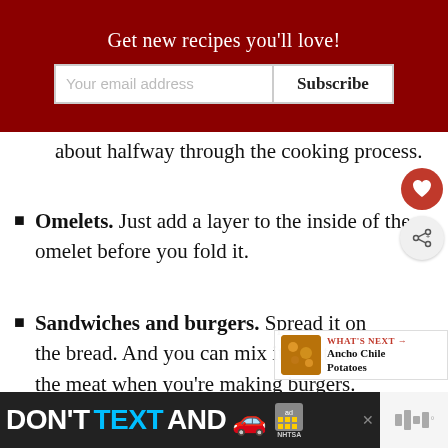Get new recipes you'll love!
about halfway through the cooking process.
Omelets. Just add a layer to the inside of the omelet before you fold it.
Sandwiches and burgers. Spread it on the bread. And you can mix it right into the meat when you're making burgers.
Burritos. Drizzle it into the filling
[Figure (infographic): Ad banner: DON'T TEXT AND [car emoji] with NHTSA logo]
[Figure (infographic): What's next: Ancho Chile Potatoes with food thumbnail]